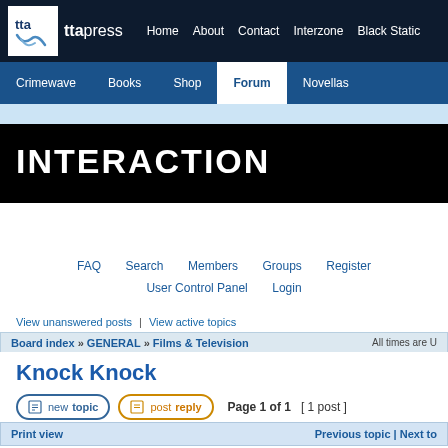[Figure (screenshot): TTA Press website navigation header with logo, top nav links (Home, About, Contact, Interzone, Black Static), and second nav row (Crimewave, Books, Shop, Forum active, Novellas) on dark blue background]
INTERACTION
FAQ | Search | Members | Groups | Register | User Control Panel | Login
View unanswered posts | View active topics
Board index » GENERAL » Films & Television — All times are U
Knock Knock
Page 1 of 1  [ 1 post ]
Print view | Previous topic | Next to